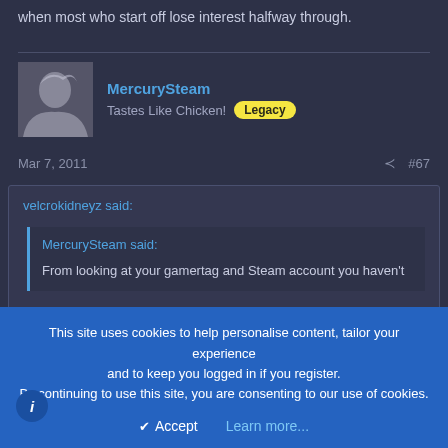when most who start off lose interest halfway through.
MercurySteam
Tastes Like Chicken! Legacy
Mar 7, 2011  #67
velcrokidneyz said:
MercurySteam said:
From looking at your gamertag and Steam account you haven't
This site uses cookies to help personalise content, tailor your experience and to keep you logged in if you register.
By continuing to use this site, you are consenting to our use of cookies.
Accept  Learn more...